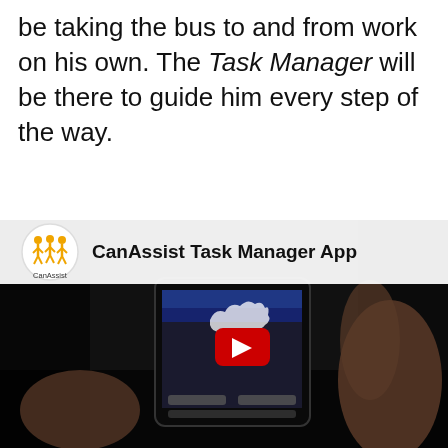be taking the bus to and from work on his own. The Task Manager will be there to guide him every step of the way.
[Figure (screenshot): YouTube video thumbnail for 'CanAssist Task Manager App' showing a hand holding a smartphone with the CanAssist logo and a YouTube play button overlay on a dark background.]